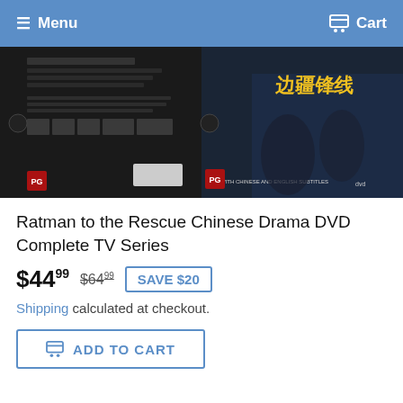Menu   Cart
[Figure (photo): DVD box set product image showing back and front covers of Ratman to the Rescue Chinese Drama DVD. Left side shows the back cover in black, right side shows the front cover with Chinese characters and yellow title text.]
Ratman to the Rescue Chinese Drama DVD Complete TV Series
$44.99  $64.99  SAVE $20
Shipping calculated at checkout.
ADD TO CART